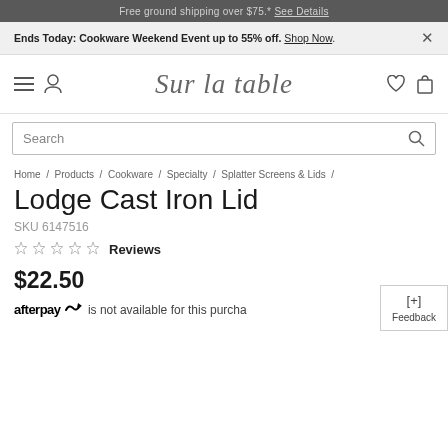Free ground shipping over $75.* See Details
Ends Today: Cookware Weekend Event up to 55% off. Shop Now. ×
[Figure (logo): Sur la table script logo and navigation bar with hamburger menu, user icon, wishlist heart, and bag icon]
Search
Home / Products / Cookware / Specialty / Splatter Screens & Lids /
Lodge Cast Iron Lid
SKU 6147516
★★★★★ Reviews
$22.50
afterpay is not available for this purchase